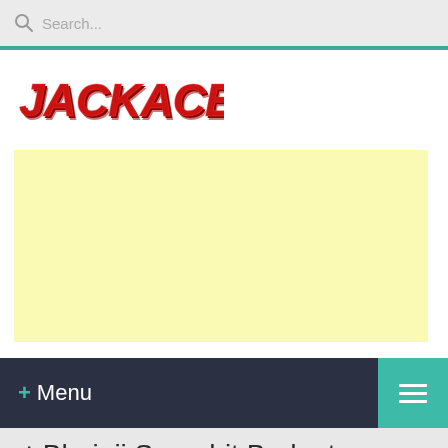Search...
[Figure (logo): JACKACE.IN logo in red cartoon/graffiti style font]
[Figure (other): Yellow advertisement banner placeholder]
+ Menu (hamburger menu navigation bar)
Bhaiaji Superhit Budget, Screens & Box Office Collection India, Overseas, WorldWide